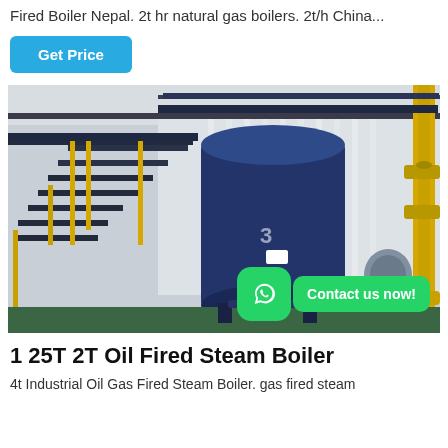Fired Boiler Nepal. 2t hr natural gas boilers. 2t/h China...
Get Price
[Figure (photo): Industrial oil gas fired steam boiler, large blue cylindrical unit with metal staircase and yellow piping in a factory setting. WhatsApp contact overlay in bottom right.]
1 25T 2T Oil Fired Steam Boiler
4t Industrial Oil Gas Fired Steam Boiler. gas fired steam